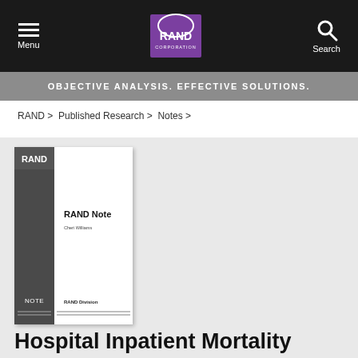Menu | RAND Corporation | Search
OBJECTIVE ANALYSIS. EFFECTIVE SOLUTIONS.
RAND > Published Research > Notes >
[Figure (other): RAND Note book cover thumbnail showing RAND logo, RAND Note title, author name, NOTE label, and RAND Division text]
Hospital Inpatient Mortality